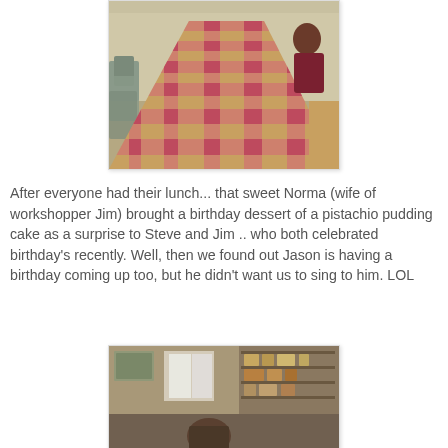[Figure (photo): Long table with red and white gingham checkered tablecloth in a workshop/community room setting, with chairs along the side and a person visible in the background.]
After everyone had their lunch... that sweet Norma (wife of workshopper Jim)  brought a birthday dessert of a pistachio pudding cake as a surprise to Steve and Jim .. who both celebrated birthday's recently.  Well, then we found out Jason is having a birthday coming up too, but he didn't want us to sing to him.  LOL
[Figure (photo): Interior of a workshop or store room with shelving, artwork/paintings visible on the walls and shelves, and a person partially visible at the bottom of the frame.]